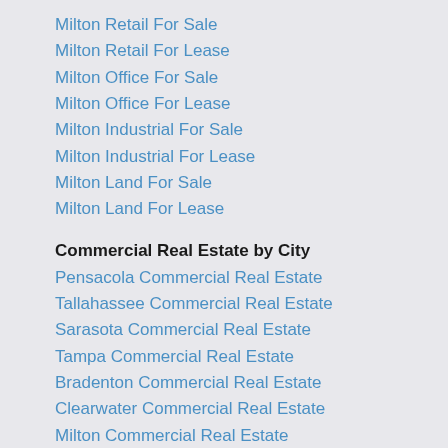Milton Retail For Sale
Milton Retail For Lease
Milton Office For Sale
Milton Office For Lease
Milton Industrial For Sale
Milton Industrial For Lease
Milton Land For Sale
Milton Land For Lease
Commercial Real Estate by City
Pensacola Commercial Real Estate
Tallahassee Commercial Real Estate
Sarasota Commercial Real Estate
Tampa Commercial Real Estate
Bradenton Commercial Real Estate
Clearwater Commercial Real Estate
Milton Commercial Real Estate
Fort Myers Commercial Real Estate
SARASOTA Commercial Real Estate